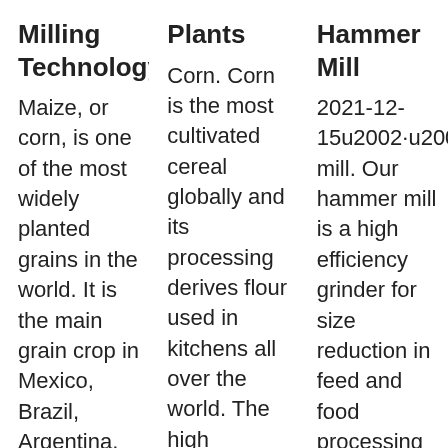Milling Technology
Maize, or corn, is one of the most widely planted grains in the world. It is the main grain crop in Mexico, Brazil, Argentina, etc. While other countries like America, China, and most African
Plants
Corn. Corn is the most cultivated cereal globally and its processing derives flour used in kitchens all over the world. The high concentration of carbohydrates makes corn flour highly
Hammer Mill
2021-12-15u2002·u2002Hammer mill. Our hammer mill is a high efficiency grinder for size reduction in feed and food processing industries. Generally applied for dry materials with